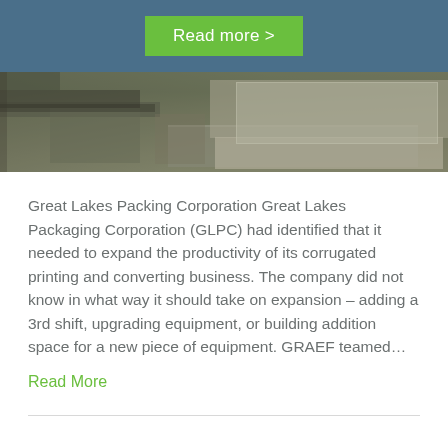Read more >
[Figure (photo): Aerial view of an industrial/warehouse facility with parking lots and surrounding roads]
Great Lakes Packing Corporation Great Lakes Packaging Corporation (GLPC) had identified that it needed to expand the productivity of its corrugated printing and converting business. The company did not know in what way it should take on expansion – adding a 3rd shift, upgrading equipment, or building addition space for a new piece of equipment. GRAEF teamed…
Read More